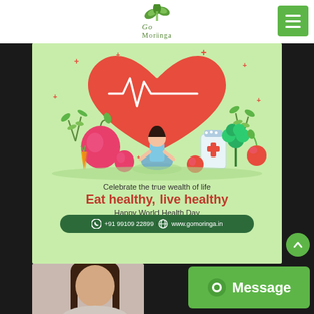Go Moringa
[Figure (illustration): Health-themed illustration with a large red heart containing a white heartbeat/ECG line, a woman meditating in lotus position at the center, surrounded by fruits (apples), vegetables (broccoli, carrots), and a medicine/supplement bottle with a red cross. Green leaves and sparkle decorations on light green background.]
Celebrate the true wealth of life
Eat healthy, live healthy
Happy World Health Day
+91 99109 22899   www.gomoringa.in
[Figure (photo): Partial photo of a woman with dark hair visible at bottom left]
Message